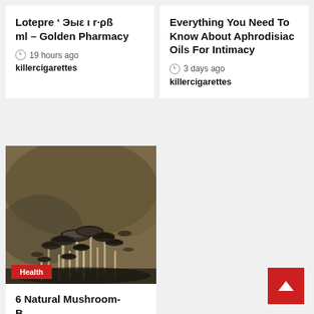Lotepre ’ Eyе і r·рѕ ml – Golden Pharmacy
19 hours ago
killercigarettes
Everything You Need To Know About Aphrodisiac Oils For Intimacy
3 days ago
killercigarettes
[Figure (photo): A cluster of wild mushrooms with small bell-shaped caps, photographed in close-up with a blurred natural background. A red 'Health' badge is overlaid in the bottom left corner.]
6 Natural Mushroom-Based Supplements